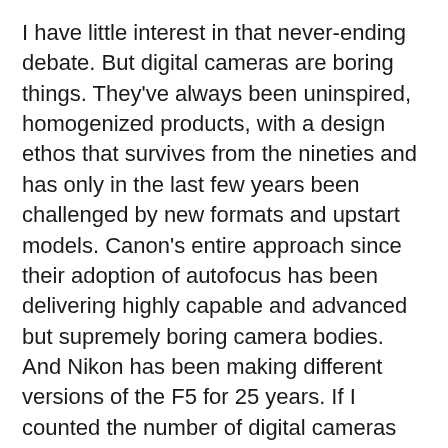I have little interest in that never-ending debate. But digital cameras are boring things. They've always been uninspired, homogenized products, with a design ethos that survives from the nineties and has only in the last few years been challenged by new formats and upstart models. Canon's entire approach since their adoption of autofocus has been delivering highly capable and advanced but supremely boring camera bodies. And Nikon has been making different versions of the F5 for 25 years. If I counted the number of digital cameras that struck me as having an interesting or inspired design, I wouldn't need more than three or four fingers. But design isn't everything – just ask anyone that uses Sony cameras.
I had to remind myself of that fact while browsing the used market for my own digital camera. My needs were simple: something to use for product photos and perhaps for some foster lens reviews. I knew I wanted